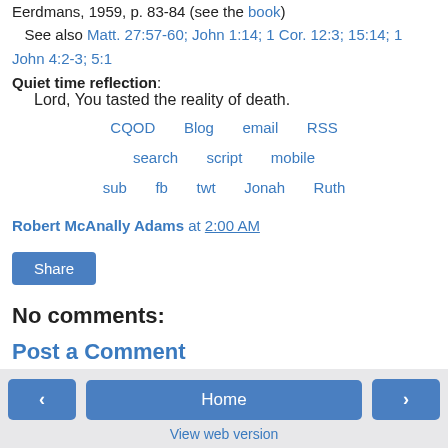Eerdmans, 1959, p. 83-84 (see the book)
    See also Matt. 27:57-60; John 1:14; 1 Cor. 12:3; 15:14; 1 John 4:2-3; 5:1
Quiet time reflection: Lord, You tasted the reality of death.
CQOD   Blog   email   RSS
search   script   mobile
sub   fb   twt   Jonah   Ruth
Robert McAnally Adams at 2:00 AM
Share
No comments:
Post a Comment
‹   Home   ›
View web version